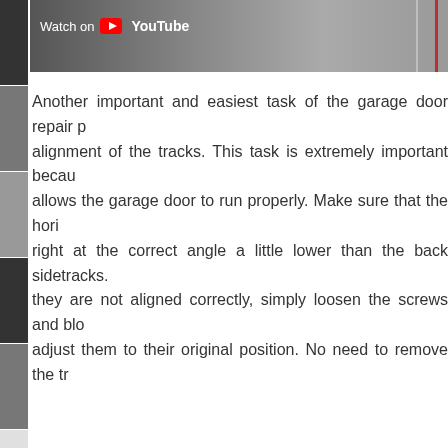[Figure (screenshot): YouTube video thumbnail showing a garage interior with a 'Watch on YouTube' overlay button in the top-left corner.]
Another important and easiest task of the garage door repair p... alignment of the tracks. This task is extremely important becau... allows the garage door to run properly. Make sure that the hori... right at the correct angle a little lower than the back sidetracks. they are not aligned correctly, simply loosen the screws and blo... adjust them to their original position. No need to remove the tr...